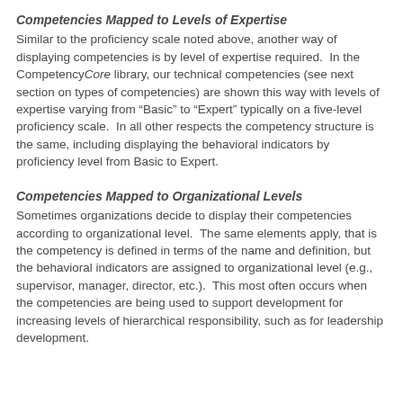Competencies Mapped to Levels of Expertise
Similar to the proficiency scale noted above, another way of displaying competencies is by level of expertise required.  In the CompetencyCore library, our technical competencies (see next section on types of competencies) are shown this way with levels of expertise varying from “Basic” to “Expert” typically on a five-level proficiency scale.  In all other respects the competency structure is the same, including displaying the behavioral indicators by proficiency level from Basic to Expert.
Competencies Mapped to Organizational Levels
Sometimes organizations decide to display their competencies according to organizational level.  The same elements apply, that is the competency is defined in terms of the name and definition, but the behavioral indicators are assigned to organizational level (e.g., supervisor, manager, director, etc.).  This most often occurs when the competencies are being used to support development for increasing levels of hierarchical responsibility, such as for leadership development.